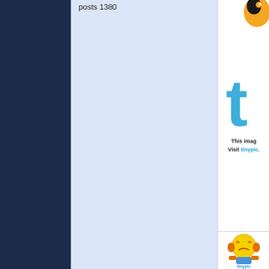posts 1380
[Figure (screenshot): Tinypic broken image placeholder showing 'This image is no longer available. Visit tinypic.com' with a sad face emoji icon and tinypic logo]
9:12 pm
January 20, 2012
Rob Donkin
UK
I must admit some of these videos
Awesome work so far everyone, k